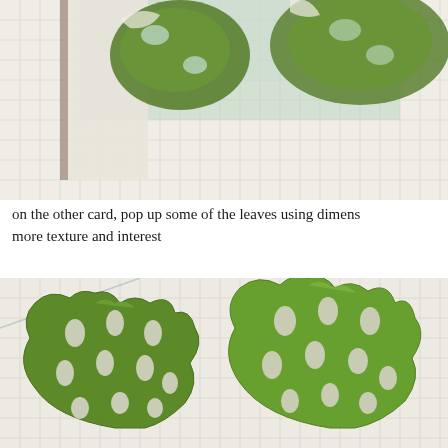[Figure (photo): Close-up photo of green monstera leaf cutouts arranged on graph/grid paper, showing a card craft project with the leaves partially popped up]
on the other card, pop up some of the leaves using dimens more texture and interest
[Figure (photo): Close-up photo of multiple green felt or paper monstera leaf cutouts with characteristic holes and splits, arranged on graph/grid paper background]